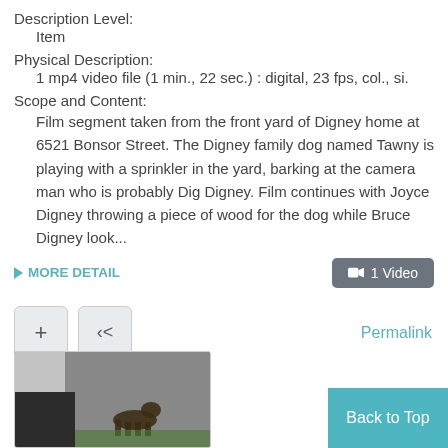Description Level:
Item
Physical Description:
1 mp4 video file (1 min., 22 sec.) : digital, 23 fps, col., si.
Scope and Content:
Film segment taken from the front yard of Digney home at 6521 Bonsor Street. The Digney family dog named Tawny is playing with a sprinkler in the yard, barking at the camera man who is probably Dig Digney. Film continues with Joyce Digney throwing a piece of wood for the dog while Bruce Digney look...
MORE DETAIL
1 Video
Permalink
[Figure (photo): Thumbnail of a film still showing a dog in a yard]
Back to Top